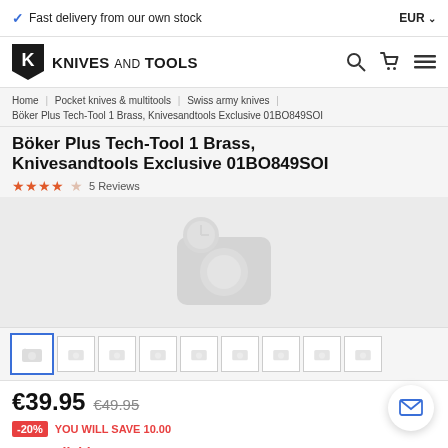✓ Fast delivery from our own stock   EUR ↓
[Figure (logo): Knives and Tools logo with black shield and K letter]
Home | Pocket knives & multitools | Swiss army knives | Böker Plus Tech-Tool 1 Brass, Knivesandtools Exclusive 01BO849SOI
Böker Plus Tech-Tool 1 Brass, Knivesandtools Exclusive 01BO849SOI
★★★★☆  5 Reviews
[Figure (photo): Product image placeholder with camera icon - image not loaded]
[Figure (photo): Row of 9 product thumbnail placeholders with camera icons]
€39.95  €49.95
-20%  YOU WILL SAVE 10.00
Not available
This product is temporarily unavailable